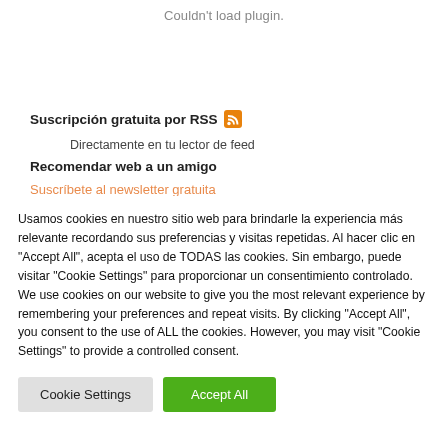Couldn't load plugin.
Suscripción gratuita por RSS
Directamente en tu lector de feed
Recomendar web a un amigo
Suscríbete al newsletter gratuita
Usamos cookies en nuestro sitio web para brindarle la experiencia más relevante recordando sus preferencias y visitas repetidas. Al hacer clic en "Accept All", acepta el uso de TODAS las cookies. Sin embargo, puede visitar "Cookie Settings" para proporcionar un consentimiento controlado. We use cookies on our website to give you the most relevant experience by remembering your preferences and repeat visits. By clicking "Accept All", you consent to the use of ALL the cookies. However, you may visit "Cookie Settings" to provide a controlled consent.